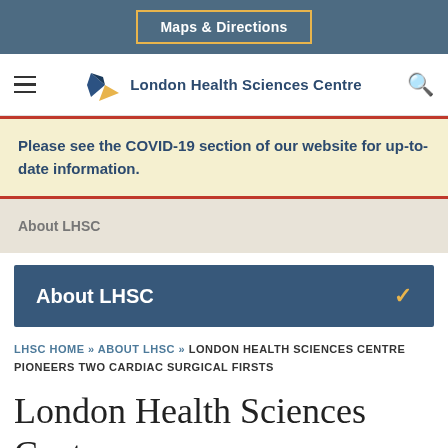Maps & Directions
[Figure (logo): London Health Sciences Centre logo with stylized bird/wing shape in blue and gold, with text 'London Health Sciences Centre']
Please see the COVID-19 section of our website for up-to-date information.
About LHSC
About LHSC
LHSC HOME » ABOUT LHSC » LONDON HEALTH SCIENCES CENTRE PIONEERS TWO CARDIAC SURGICAL FIRSTS
London Health Sciences Centre